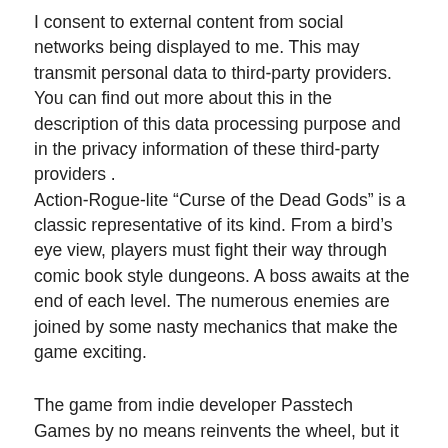I consent to external content from social networks being displayed to me. This may transmit personal data to third-party providers. You can find out more about this in the description of this data processing purpose and in the privacy information of these third-party providers .
Action-Rogue-lite “Curse of the Dead Gods” is a classic representative of its kind. From a bird’s eye view, players must fight their way through comic book style dungeons. A boss awaits at the end of each level. The numerous enemies are joined by some nasty mechanics that make the game exciting.
The game from indie developer Passtech Games by no means reinvents the wheel, but it is fun, especially visually. With a Metascore of 79 and a User Score of 7.6, critics and gamers are also quite united in this case. One criticism is the rather thin story. However, if you’re looking for a varied battle system, this is the game for you.
Tribes of Mitgard (PS4 + PS5)